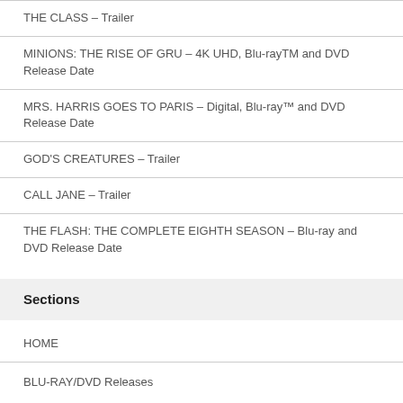THE CLASS – Trailer
MINIONS: THE RISE OF GRU – 4K UHD, Blu-rayTM and DVD Release Date
MRS. HARRIS GOES TO PARIS – Digital, Blu-ray™ and DVD Release Date
GOD'S CREATURES – Trailer
CALL JANE – Trailer
THE FLASH: THE COMPLETE EIGHTH SEASON – Blu-ray and DVD Release Date
Sections
HOME
BLU-RAY/DVD Releases
MOVIE RELEASES
Movie Trailers